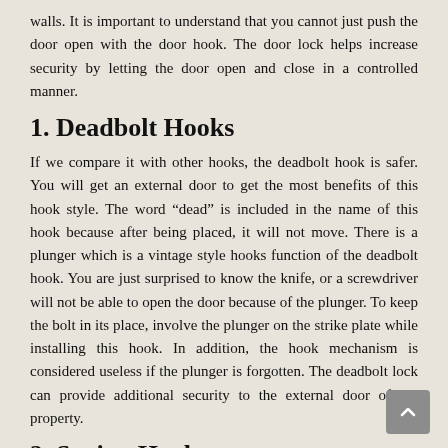walls. It is important to understand that you cannot just push the door open with the door hook. The door lock helps increase security by letting the door open and close in a controlled manner.
1. Deadbolt Hooks
If we compare it with other hooks, the deadbolt hook is safer. You will get an external door to get the most benefits of this hook style. The word “dead” is included in the name of this hook because after being placed, it will not move. There is a plunger which is a vintage style hooks function of the deadbolt hook. You are just surprised to know the knife, or a screwdriver will not be able to open the door because of the plunger. To keep the bolt in its place, involve the plunger on the strike plate while installing this hook. In addition, the hook mechanism is considered useless if the plunger is forgotten. The deadbolt lock can provide additional security to the external door of the property.
2. Spring Hooks